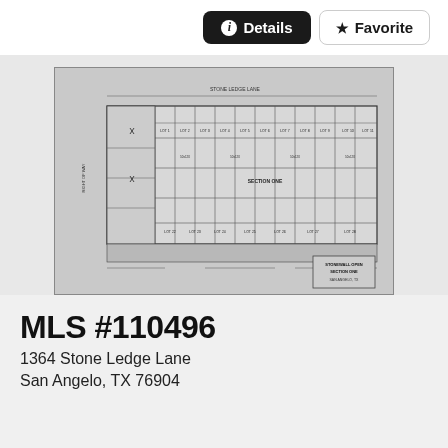Details  Favorite
[Figure (schematic): Plat map / subdivision survey drawing showing lot layouts, streets, and land parcel boundaries for a real estate listing. Labeled 'STONEWALL OPEN SECTION ONE'. Shows a grid of lots with survey notations, dimensions, and street names.]
MLS #110496
1364 Stone Ledge Lane
San Angelo, TX 76904